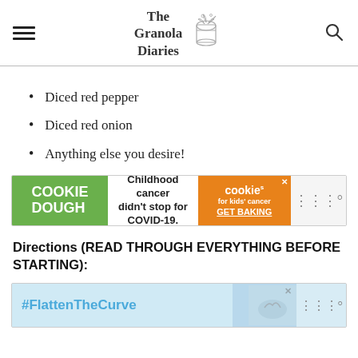The Granola Diaries
Diced red pepper
Diced red onion
Anything else you desire!
[Figure (other): Advertisement banner: Cookie Dough for Kids Cancer — 'Childhood cancer didn't stop for COVID-19. GET BAKING']
Directions (READ THROUGH EVERYTHING BEFORE STARTING):
[Figure (other): Advertisement banner: #FlattenTheCurve with image of hands washing]